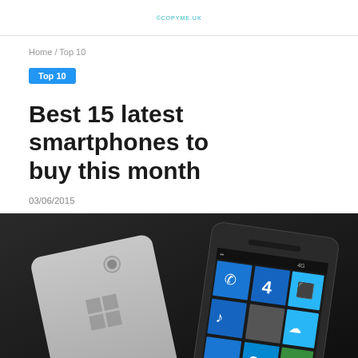©COPYME.UK
Home / Top 10
Top 10
Best 15 latest smartphones to buy this month
03/06/2015
[Figure (photo): Two Windows Phone smartphones on a dark background, one showing the tiled Windows Phone interface with colorful app tiles including phone, messaging, photos, music, and Skype icons, the other showing the back of the phone with a Windows logo.]